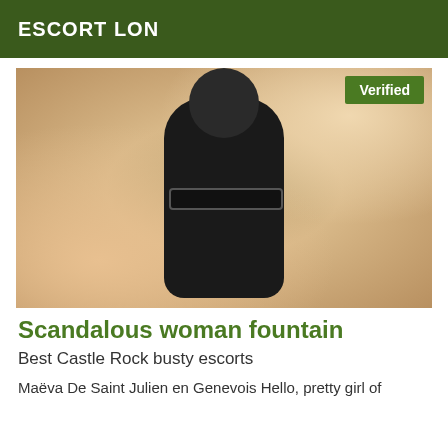ESCORT LON
[Figure (photo): Photo of a woman in a black outfit lying on a colorful patterned surface, viewed from above. A green 'Verified' badge appears in the top-right corner of the image.]
Scandalous woman fountain
Best Castle Rock busty escorts
Maëva De Saint Julien en Genevois Hello, pretty girl of